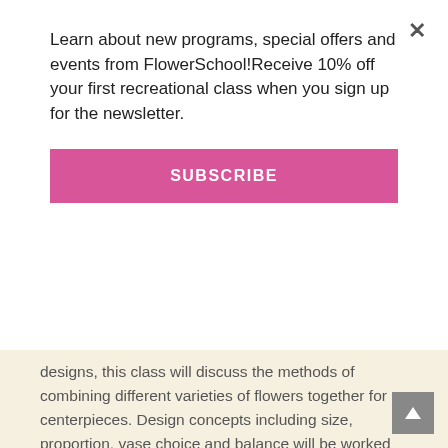Learn about new programs, special offers and events from FlowerSchool!Receive 10% off your first recreational class when you sign up for the newsletter.
SUBSCRIBE
designs, this class will discuss the methods of combining different varieties of flowers together for centerpieces. Design concepts including size, proportion, vase choice and balance will be worked through.
Class Four: Hand Tied Bouquet
(Day Two: 1:30pm – 4:00pm)
Class Four is a fresh and contemporary take on a